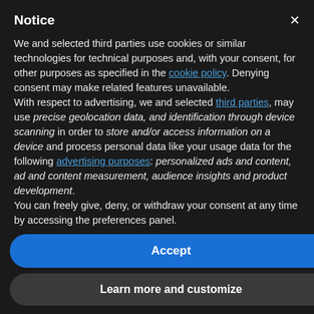Notice
We and selected third parties use cookies or similar technologies for technical purposes and, with your consent, for other purposes as specified in the cookie policy. Denying consent may make related features unavailable.
With respect to advertising, we and selected third parties, may use precise geolocation data, and identification through device scanning in order to store and/or access information on a device and process personal data like your usage data for the following advertising purposes: personalized ads and content, ad and content measurement, audience insights and product development.
You can freely give, deny, or withdraw your consent at any time by accessing the preferences panel.
Use the "Accept" button or close this notice to consent to the
Accept
Learn more and customize